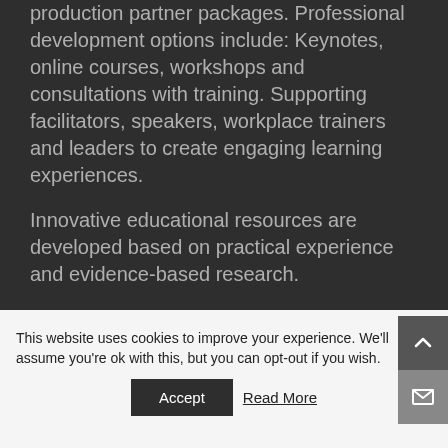production partner packages. Professional development options include: Keynotes, online courses, workshops and consultations with training. Supporting facilitators, speakers, workplace trainers and leaders to create engaging learning experiences.
Innovative educational resources are developed based on practical experience and evidence-based research.
This website uses cookies to improve your experience. We'll assume you're ok with this, but you can opt-out if you wish.